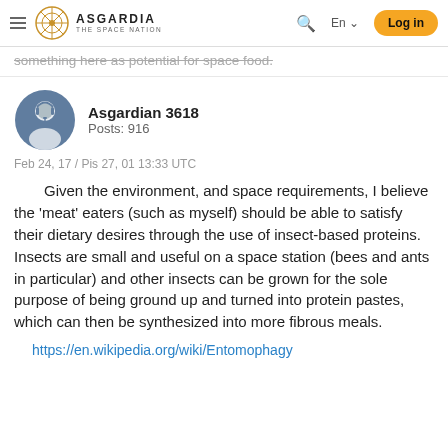ASGARDIA THE SPACE NATION | En | Log in
something here as potential for space food.
Asgardian 3618
Posts: 916
Feb 24, 17 / Pis 27, 01 13:33 UTC
Given the environment, and space requirements, I believe the 'meat' eaters (such as myself) should be able to satisfy their dietary desires through the use of insect-based proteins. Insects are small and useful on a space station (bees and ants in particular) and other insects can be grown for the sole purpose of being ground up and turned into protein pastes, which can then be synthesized into more fibrous meals.
https://en.wikipedia.org/wiki/Entomophagy